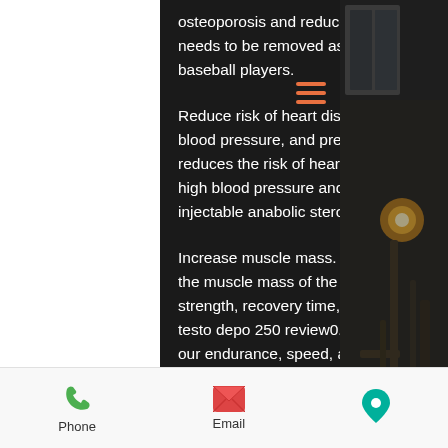osteoporosis and reduces the amount of bone that needs to be removed as time pass, list of steroid baseball players.
Reduce risk of heart disease, stroke, diabetes, high blood pressure, and premature aging. Testosterone reduces the risk of heart disease, stroke, diabetes, high blood pressure and premature aging, list of injectable anabolic steroids.
Increase muscle mass. Testosterone also increases the muscle mass of the body and increases muscle strength, recovery time, endurance and speed, merck testo depo 250 review0. These effects can improve our endurance, speed, agility, flexibility, and the resistance of the muscles, as testosterone increases muscle tissue turnover.
Phone | Email | Location